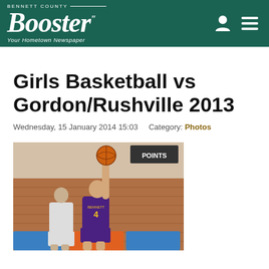Bennett County Booster — Your Hometown Newspaper
Girls Basketball vs Gordon/Rushville 2013
Wednesday, 15 January 2014 15:03    Category: Photos
[Figure (photo): A girls basketball player in a Bennett County #4 jersey reaching up to shoot or block a ball near the basket, photographed in an indoor gymnasium with brick walls and blue/orange padding visible.]